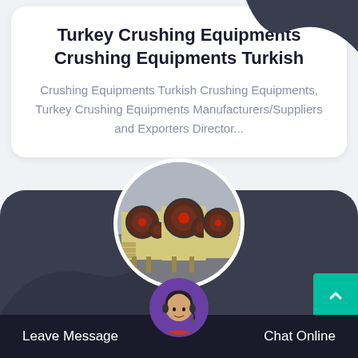Turkey Crushing Equipments Crushing Equipments Turkish
Crushing Equipments Turkish Crushing Equipments, Turkey Crushing Equipments Manufacturers/Suppliers and Exporters Director...
[Figure (photo): Circular photo of yellow/beige jaw crusher industrial equipment in a warehouse/factory setting]
[Figure (photo): Circular avatar photo of a female customer service representative wearing a headset]
Leave Message
Chat Online